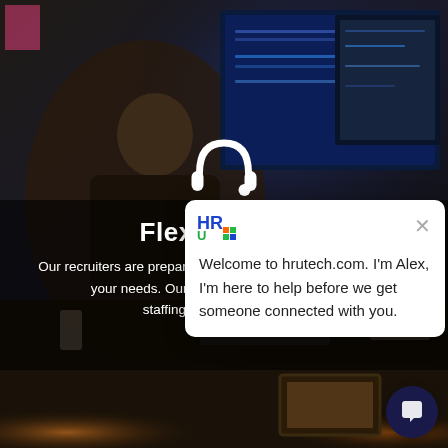[Figure (screenshot): Website screenshot of hrutech.com showing a person sitting at a desk with multiple computer monitors in a dark office environment, with a white headset icon overlay, 'Flexible Staff' heading, descriptive body text, and a chat bot popup from 'Alex' welcoming users to hrutech.com. A dark bottom strip shows another scene. A dark circular chat button is visible in the bottom right.]
Flexible Staff
Our recruiters are prepared to react at a moment's notice to fill your needs. Our clients rely on us for flexible staffing, and then move those...
Welcome to hrutech.com. I'm Alex, I'm here to help before we get someone connected with you.